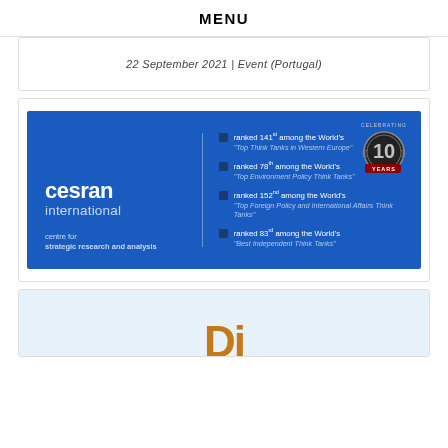MENU
22 September 2021 | Event (Portugal)
[Figure (logo): CESRAN International banner: blue background with CESRAN International logo on left, four ranked bullet points on right, and a 10 Years celebrating badge in top right corner. Bullet points: ranked 141st among the World's Top Think Tanks in Western Europe; ranked 78th among the World's Top Environment Policy Think Tanks; ranked 152nd among the World's Top Foreign Policy and International Affairs Think Tanks; ranked 83rd among the World's Best Independent Think Tanks.]
[Figure (logo): Partial view of another logo/banner with light blue background and orange/gold large letters partially visible at bottom.]